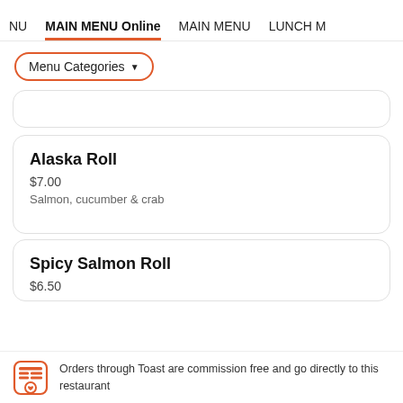NU  MAIN MENU Online  MAIN MENU  LUNCH M
Menu Categories ▼
Alaska Roll
$7.00
Salmon, cucumber & crab
Spicy Salmon Roll
$6.50
Orders through Toast are commission free and go directly to this restaurant